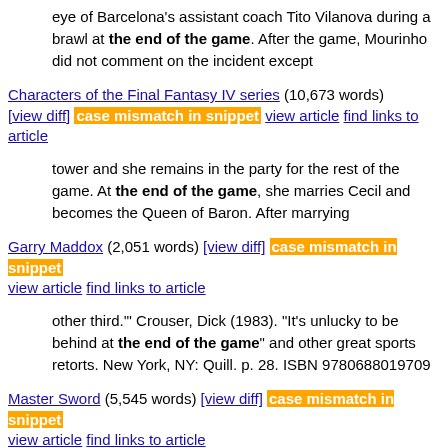eye of Barcelona's assistant coach Tito Vilanova during a brawl at the end of the game. After the game, Mourinho did not comment on the incident except
Characters of the Final Fantasy IV series (10,673 words) [view diff] case mismatch in snippet view article find links to article
tower and she remains in the party for the rest of the game. At the end of the game, she marries Cecil and becomes the Queen of Baron. After marrying
Garry Maddox (2,051 words) [view diff] case mismatch in snippet view article find links to article
other third."' Crouser, Dick (1983). "It's unlucky to be behind at the end of the game" and other great sports retorts. New York, NY: Quill. p. 28. ISBN 9780688019709
Master Sword (5,545 words) [view diff] case mismatch in snippet view article find links to article
the player has greater capability to defeat the